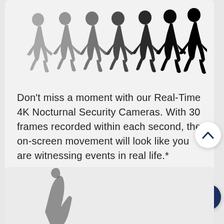[Figure (illustration): Silhouettes of multiple runners in sequence from lighter gray to dark black, showing motion/progression from left to right]
Don't miss a moment with our Real-Time 4K Nocturnal Security Cameras. With 30 frames recorded within each second, the on-screen movement will look like you are witnessing events in real life.*
[Figure (illustration): Partial view of another illustration at bottom of page, mostly cropped]